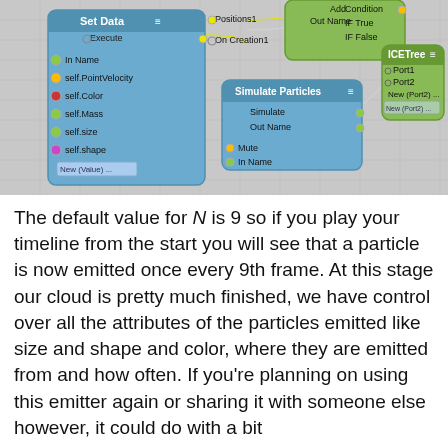[Figure (screenshot): A node graph editor screenshot showing interconnected nodes: 'Set Data' node (blue, with ports In Name, self.PointVelocity, self.Color, self.Mass, self.size, self.shape, New (Value)..., Execute, Positions1, On Creation1), 'Simulate Particles' node (blue, with ports Simulate, Out Name, Mute, In Name), a condition node (green, with Add, Out Name, Condition, IF True, IF False), and 'ICETree' node (green, with Port1, Port2, New (Port2)...). Nodes are connected by lines/wires on a gray grid background.]
The default value for N is 9 so if you play your timeline from the start you will see that a particle is now emitted once every 9th frame. At this stage our cloud is pretty much finished, we have control over all the attributes of the particles emitted like size and shape and color, where they are emitted from and how often. If you're planning on using this emitter again or sharing it with someone else however, it could do with a bit